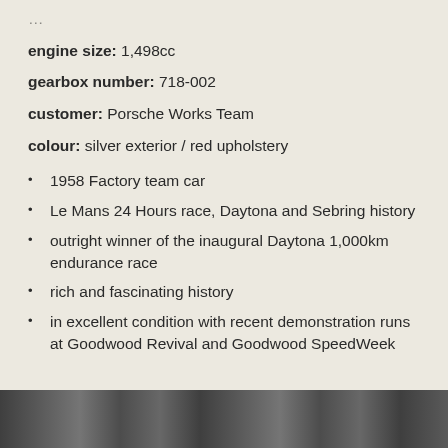engine size: 1,498cc
gearbox number: 718-002
customer: Porsche Works Team
colour: silver exterior / red upholstery
1958 Factory team car
Le Mans 24 Hours race, Daytona and Sebring history
outright winner of the inaugural Daytona 1,000km endurance race
rich and fascinating history
in excellent condition with recent demonstration runs at Goodwood Revival and Goodwood SpeedWeek
[Figure (photo): Black and white photograph strip at the bottom of the page showing people at what appears to be a motor racing event]